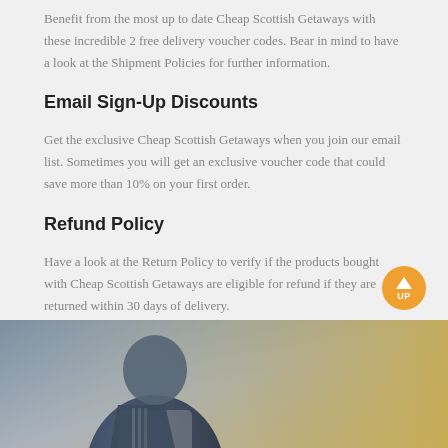Benefit from the most up to date Cheap Scottish Getaways with these incredible 2 free delivery voucher codes. Bear in mind to have a look at the Shipment Policies for further information.
Email Sign-Up Discounts
Get the exclusive Cheap Scottish Getaways when you join our email list. Sometimes you will get an exclusive voucher code that could save more than 10% on your first order.
Refund Policy
Have a look at the Return Policy to verify if the products bought with Cheap Scottish Getaways are eligible for refund if they are returned within 30 days of delivery.
Common Questions
Have a look at the bottom of the page to see more common questions for example "How to use Cheap Scottish Getaways?" "How to get more Cheap Scottish Getaways?" with questions like "Why can't Cheap Scottish Getaways work?", and so forth.
[Figure (photo): Photo of a person in a dark blazer, blurred background with warm tones]